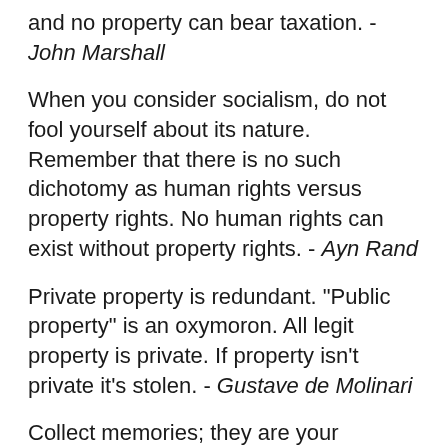and no property can bear taxation. - John Marshall
When you consider socialism, do not fool yourself about its nature. Remember that there is no such dichotomy as human rights versus property rights. No human rights can exist without property rights. - Ayn Rand
Private property is redundant. "Public property" is an oxymoron. All legit property is private. If property isn't private it's stolen. - Gustave de Molinari
Collect memories; they are your precious property. - Debasish Mridha